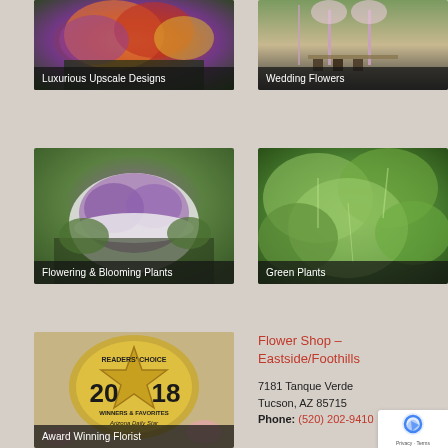[Figure (photo): Colorful flower arrangement with orange, red and purple flowers - Luxurious Upscale Designs]
[Figure (photo): Wedding outdoor setup with fabric draping and table decorations - Wedding Flowers]
[Figure (photo): Purple flowering plants in a white bowl - Flowering & Blooming Plants]
[Figure (photo): Green tropical plants with large leaves - Green Plants]
[Figure (photo): Readers Choice 2018 Winners & Favorites Arizona Daily Star badge - Award Winning Florist]
Flower Shop – Eastside/Foothills
7181 Tanque Verde
Tucson, AZ 85715
Phone: (520) 202-9410